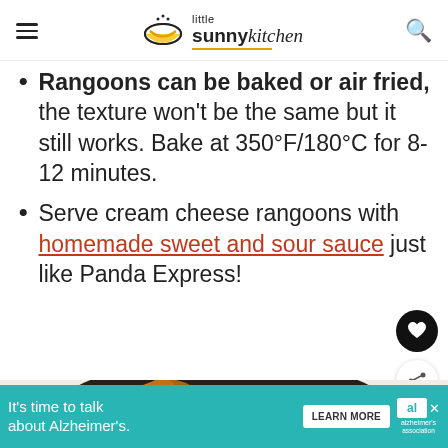little sunny kitchen
Rangoons can be baked or air fried, the texture won't be the same but it still works. Bake at 350°F/180°C for 8-12 minutes.
Serve cream cheese rangoons with homemade sweet and sour sauce just like Panda Express!
[Figure (photo): A dark bowl containing cream cheese rangoons (fried wontons) on a light background]
[Figure (infographic): Advertisement banner: It's time to talk about Alzheimer's. Learn More. Alzheimer's Association logo.]